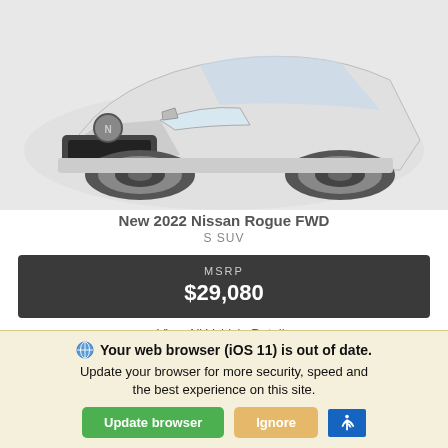[Figure (photo): Front three-quarter view of a white 2022 Nissan Rogue FWD SUV on a light background]
New 2022 Nissan Rogue FWD
S SUV
MSRP $29,080
View All Vehicle Details
30/37
Your web browser (iOS 11) is out of date. Update your browser for more security, speed and the best experience on this site.
Update browser
Ignore